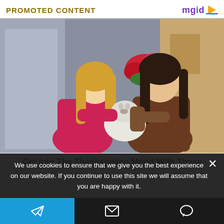PROMOTED CONTENT
[Figure (photo): Two women indoors, one with long blonde hair in a pink top, one with dark hair in a brown jacket, holding a small fluffy white dog between them. There are red flowers and decorations in the background.]
Get Into The Thanksgiving Mood With These
We use cookies to ensure that we give you the best experience on our website. If you continue to use this site we will assume that you are happy with it.